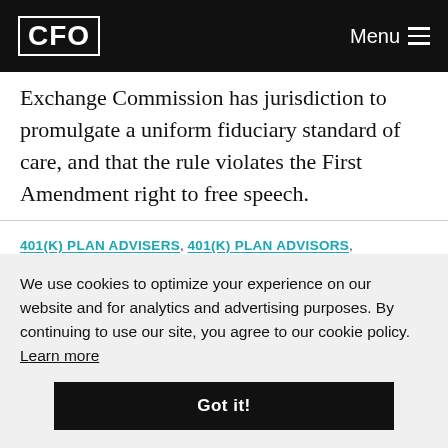CFO | Menu
Exchange Commission has jurisdiction to promulgate a uniform fiduciary standard of care, and that the rule violates the First Amendment right to free speech.
401(K) PLAN ADVISERS, 401(K) PLAN ADVISORS, BRADFORD CAMPBELL, BRIDGEHAVEN FINANCIAL ADVISORS, CONFLICT OF INTEREST RULE, DEPARTMENT OF LABOR, DOL, DRINKER BIDDLE & REATH, GREG MARSH, JOSEPH ADAMS
We use cookies to optimize your experience on our website and for analytics and advertising purposes. By continuing to use our site, you agree to our cookie policy. Learn more
Got it!